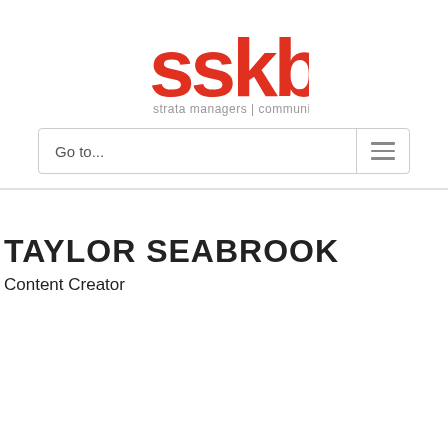[Figure (logo): SSKB strata managers | community experts logo in red and grey]
Go to...
TAYLOR SEABROOK
Content Creator